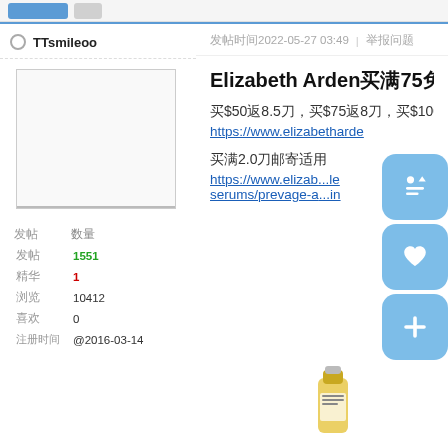TTsmileoo
发帖时间2022-05-27 03:49  |  举报问题
Elizabeth Arden买满75免邮
买$50返8.5刀，买$75返8刀，买$100返7
https://www.elizabetharde
买满2.0刀邮寄适用
https://www.elizab...le serums/prevage-a...in
|  |  |
| --- | --- |
| 发帖 | 数量 |
| 发帖 | 1551 |
| 精华 | 1 |
| 浏览 | 10412 |
| 喜欢 | 0 |
| 注册时间 | @2016-03-14 |